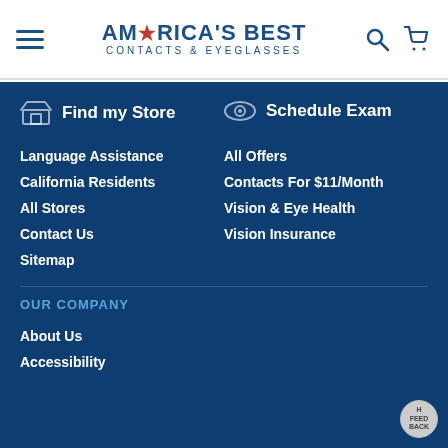[Figure (logo): America's Best Contacts & Eyeglasses logo with hamburger menu, search icon, and cart icon]
Find my Store
Schedule Exam
Language Assistance
All Offers
California Residents
Contacts For $11/Month
All Stores
Vision & Eye Health
Contact Us
Vision Insurance
Sitemap
OUR COMPANY
About Us
Accessibility